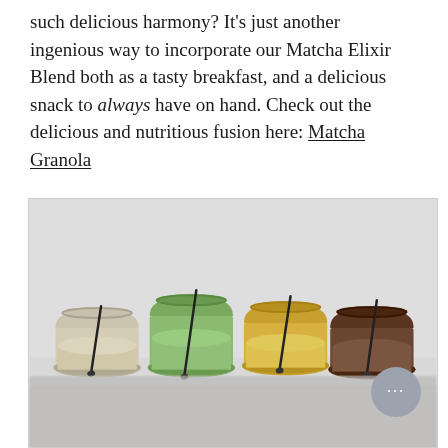such delicious harmony? It's just another ingenious way to incorporate our Matcha Elixir Blend both as a tasty breakfast, and a delicious snack to always have on hand. Check out the delicious and nutritious fusion here: Matcha Granola
[Figure (photo): Four glass jars filled with different colored smoothie/granola blends — from left to right: beige/tan, bright green, golden yellow, and dark brown/chocolate. Each jar has a dark spoon resting in it. A grey chat bubble icon is visible in the bottom right corner.]